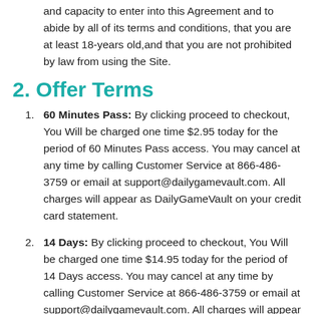and capacity to enter into this Agreement and to abide by all of its terms and conditions, that you are at least 18-years old,and that you are not prohibited by law from using the Site.
2. Offer Terms
60 Minutes Pass: By clicking proceed to checkout, You Will be charged one time $2.95 today for the period of 60 Minutes Pass access. You may cancel at any time by calling Customer Service at 866-486-3759 or email at support@dailygamevault.com. All charges will appear as DailyGameVault on your credit card statement.
14 Days: By clicking proceed to checkout, You Will be charged one time $14.95 today for the period of 14 Days access. You may cancel at any time by calling Customer Service at 866-486-3759 or email at support@dailygamevault.com. All charges will appear as DailyGameVault on your credit card statement.